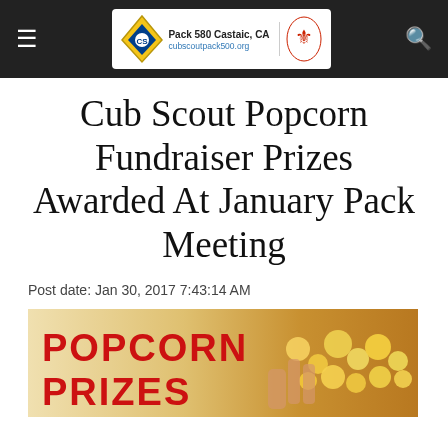Pack 580 Castaic, CA — cubscoutpack500.org
Cub Scout Popcorn Fundraiser Prizes Awarded At January Pack Meeting
Post date: Jan 30, 2017 7:43:14 AM
[Figure (photo): Promotional image showing 'POPCORN PRIZES' text in red on a warm background with a hand holding popcorn kernels]